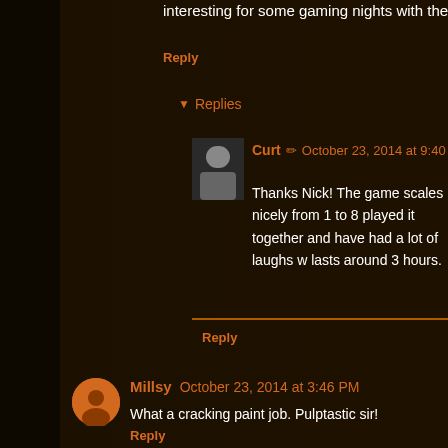interesting for some gaming nights with the missus.
Reply
Replies
Curt  October 23, 2014 at 9:40 PM
Thanks Nick! The game scales nicely from 1 to 8 played it together and have had a lot of laughs w lasts around 3 hours.
Reply
Millsy  October 23, 2014 at 3:46 PM
What a cracking paint job. Pulptastic sir!
Reply
Replies
Curt  October 23, 2014 at 9:40 PM
Haha! Thanks Millsy.